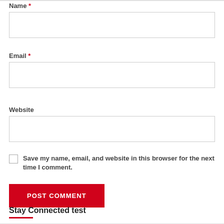Name *
[Figure (other): Empty text input field for Name]
Email *
[Figure (other): Empty text input field for Email]
Website
[Figure (other): Empty text input field for Website]
Save my name, email, and website in this browser for the next time I comment.
POST COMMENT
Stay Connected test